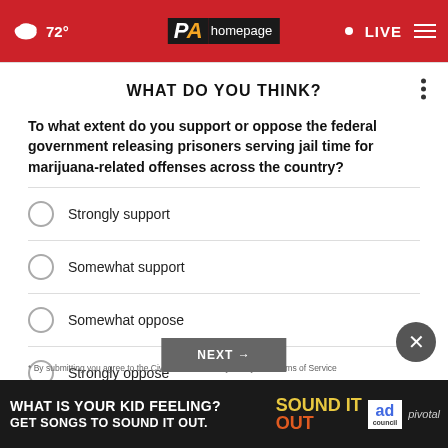72° PA homepage · LIVE
WHAT DO YOU THINK?
To what extent do you support or oppose the federal government releasing prisoners serving jail time for marijuana-related offenses across the country?
Strongly support
Somewhat support
Somewhat oppose
Strongly oppose
Other / No opinion
* By submitting you agree to the CivicScience Privacy Policy and Terms of Service
[Figure (other): Advertisement banner: WHAT IS YOUR KID FEELING? GET SONGS TO SOUND IT OUT. Ad Council / pivotal]
NEXT →